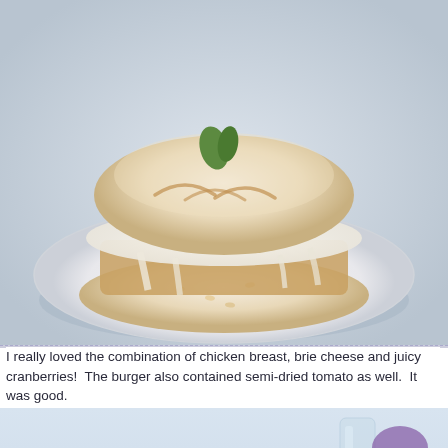[Figure (photo): Top-down close-up photo of an open-faced chicken burger with brie cheese melted on top and cranberry/jam sauce on a white plate, viewed from above on a light blue surface.]
I really loved the combination of chicken breast, brie cheese and juicy cranberries!  The burger also contained semi-dried tomato as well.  It was good.
[Figure (photo): Close-up side-view photo of a chicken burger sandwich cut in half and held together with a skewer, showing watercress/greens, cranberries, brie cheese and chicken breast on a ciabatta bun, on a white plate.]